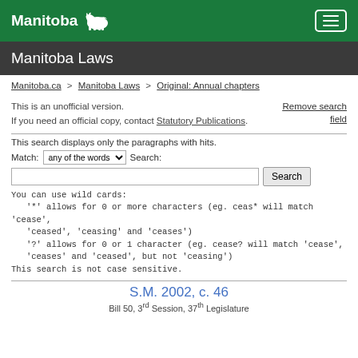Manitoba
Manitoba Laws
Manitoba.ca > Manitoba Laws > Original: Annual chapters
This is an unofficial version. If you need an official copy, contact Statutory Publications.
Remove search field
This search displays only the paragraphs with hits.
Match: any of the words  Search:
You can use wild cards:
'*' allows for 0 or more characters (eg. ceas* will match 'cease', 'ceased', 'ceasing' and 'ceases')
'?' allows for 0 or 1 character (eg. cease? will match 'cease', 'ceases' and 'ceased', but not 'ceasing')
This search is not case sensitive.
S.M. 2002, c. 46
Bill 50, 3rd Session, 37th Legislature